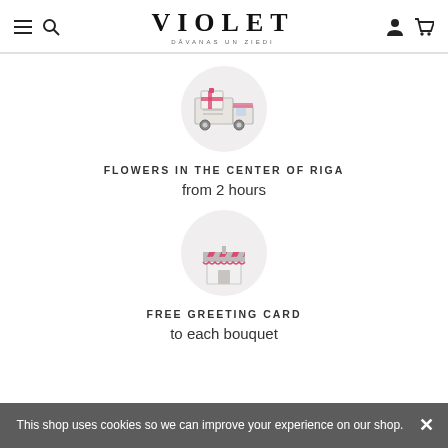VIOLET — DĀVANAS UN ZIEDI
[Figure (illustration): Delivery truck icon with pink and grey colors on a light grey circular background]
FLOWERS IN THE CENTER OF RIGA
from 2 hours
[Figure (illustration): Shop/market stall icon with pink and grey striped awning on a light grey circular background]
FREE GREETING CARD
to each bouquet
This shop uses cookies so we can improve your experience on our shop.